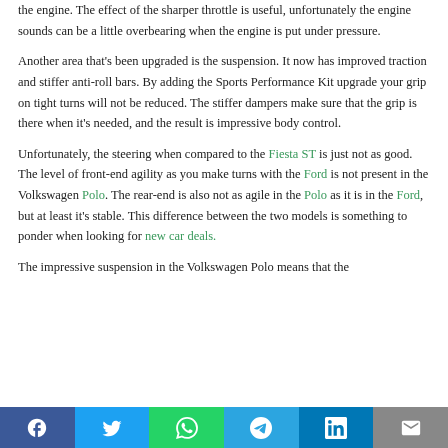the engine. The effect of the sharper throttle is useful, unfortunately the engine sounds can be a little overbearing when the engine is put under pressure.
Another area that's been upgraded is the suspension. It now has improved traction and stiffer anti-roll bars. By adding the Sports Performance Kit upgrade your grip on tight turns will not be reduced. The stiffer dampers make sure that the grip is there when it's needed, and the result is impressive body control.
Unfortunately, the steering when compared to the Fiesta ST is just not as good. The level of front-end agility as you make turns with the Ford is not present in the Volkswagen Polo. The rear-end is also not as agile in the Polo as it is in the Ford, but at least it's stable. This difference between the two models is something to ponder when looking for new car deals.
The impressive suspension in the Volkswagen Polo means that the
Facebook | Twitter | WhatsApp | Telegram | LinkedIn | Email